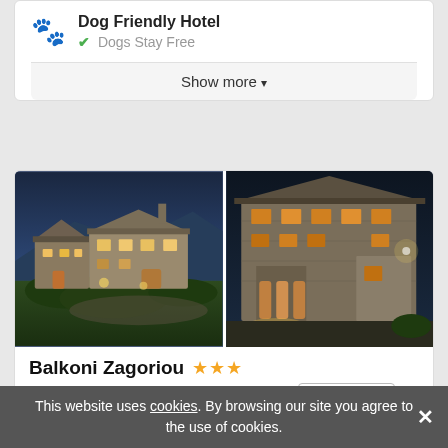Dog Friendly Hotel
Dogs Stay Free
Show more
[Figure (photo): Two photos of Balkoni Zagoriou stone hotel at dusk/night with warm lighting]
Balkoni Zagoriou ★★★
3.2 mi from Dilofo, Hotel in Vradeton  [Greek flag]  Show on Map
Available on:
Booking.com   Categories   Expedia
This website uses cookies. By browsing our site you agree to the use of cookies.